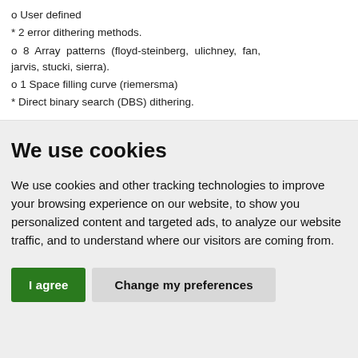o User defined
* 2 error dithering methods.
o  8  Array  patterns  (floyd-steinberg,  ulichney,  fan, jarvis, stucki, sierra).
o 1 Space filling curve (riemersma)
* Direct binary search (DBS) dithering.
We use cookies
We use cookies and other tracking technologies to improve your browsing experience on our website, to show you personalized content and targeted ads, to analyze our website traffic, and to understand where our visitors are coming from.
I agree | Change my preferences